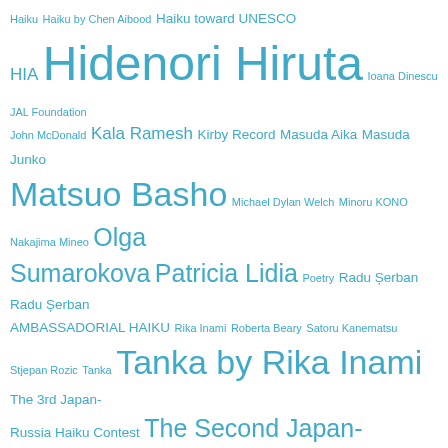Haiku Haiku by Chen Aibood Haiku toward UNESCO HIA Hidenori Hiruta Ioana Dinescu JAL Foundation John McDonald Kala Ramesh Kirby Record Masuda Aika Masuda Junko Matsuo Basho Michael Dylan Welch Minoru KONO Nakajima Mineo Olga Sumarokova Patricia Lidia Poetry Radu Șerban Radu Șerban AMBASSADORIAL HAIKU Rika Inami Roberta Beary Satoru Kanematsu Stjepan Rozic Tanka Tanka by Rika Inami The 3rd Japan-Russia Haiku Contest The Second Japan-Russia Haiku Contest Toru Kiuchi Vasile Moldovan World Haiku Series 2019 World Haiku Series 2020 World Haiku Series 2021 [Japanese text] [Japanese text] [Japanese text] [Japanese text] [Japanese text] [Japanese text] [Japanese text] [Japanese text] [Japanese text] [Japanese text]